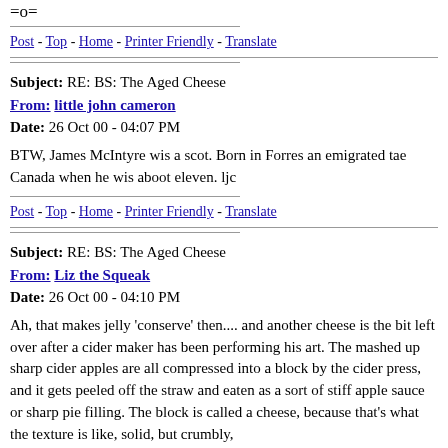=o=
Post - Top - Home - Printer Friendly - Translate
Subject: RE: BS: The Aged Cheese
From: little john cameron
Date: 26 Oct 00 - 04:07 PM
BTW, James McIntyre wis a scot. Born in Forres an emigrated tae Canada when he wis aboot eleven. ljc
Post - Top - Home - Printer Friendly - Translate
Subject: RE: BS: The Aged Cheese
From: Liz the Squeak
Date: 26 Oct 00 - 04:10 PM
Ah, that makes jelly 'conserve' then.... and another cheese is the bit left over after a cider maker has been performing his art. The mashed up sharp cider apples are all compressed into a block by the cider press, and it gets peeled off the straw and eaten as a sort of stiff apple sauce or sharp pie filling. The block is called a cheese, because that's what the texture is like, solid, but crumbly,